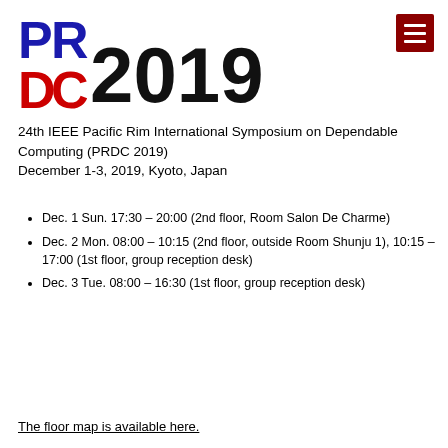[Figure (logo): PRDC 2019 logo with PR in blue/red and DC2019 in black]
24th IEEE Pacific Rim International Symposium on Dependable Computing (PRDC 2019)
December 1-3, 2019, Kyoto, Japan
Dec. 1 Sun. 17:30 – 20:00 (2nd floor, Room Salon De Charme)
Dec. 2 Mon. 08:00 – 10:15 (2nd floor, outside Room Shunju 1), 10:15 – 17:00 (1st floor, group reception desk)
Dec. 3 Tue. 08:00 – 16:30 (1st floor, group reception desk)
The floor map is available here.